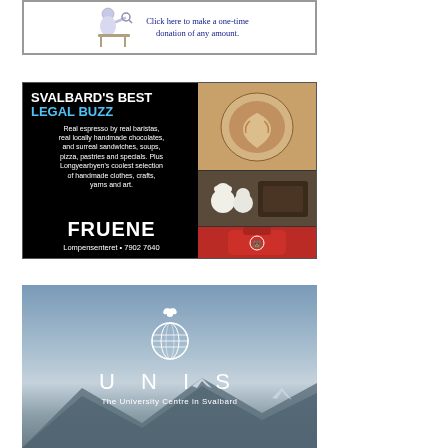[Figure (illustration): Advertisement with cartoon figure and text: Click here to make a one-time donation of any amount.]
[Figure (illustration): Advertisement for Fruene cafe/shop: SVALBARD'S BEST LEGAL BUZZ. Real espresso by real baristas, real locally handmade chocolates, and surreal sandwiches, soups, pizza, pastries and specials. Plus Longyearbyen's coolest selection of handmade clothes, crafts, yarns and art. FRUENE Lompensenteret • 7902 7640]
[Figure (illustration): Advertisement for UNIS - The University Centre in Svalbard, with globe logo and mountain background.]